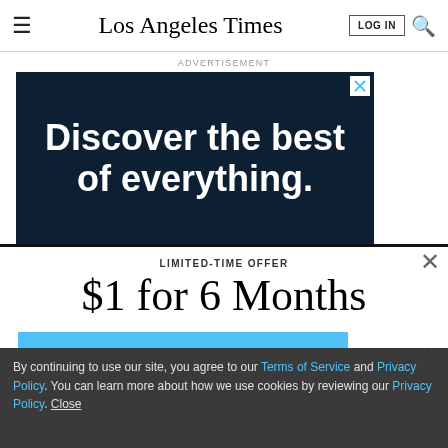Los Angeles Times
ADVERTISEMENT
[Figure (illustration): Dark navy blue advertisement banner with white bold text reading 'Discover the best of everything.']
LIMITED-TIME OFFER
$1 for 6 Months
SUBSCRIBE NOW
By continuing to use our site, you agree to our Terms of Service and Privacy Policy. You can learn more about how we use cookies by reviewing our Privacy Policy. Close